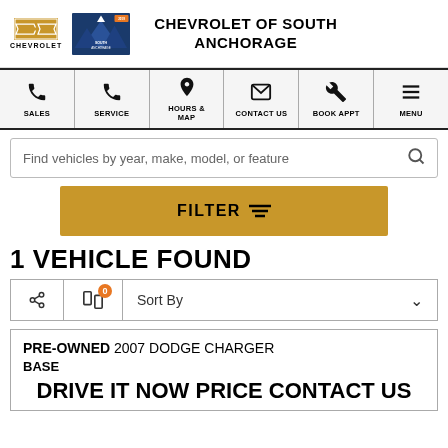[Figure (logo): Chevrolet bowtie logo and South Anchorage badge with dealer name CHEVROLET OF SOUTH ANCHORAGE]
[Figure (infographic): Navigation bar with icons for SALES, SERVICE, HOURS & MAP, CONTACT US, BOOK APPT, MENU]
Find vehicles by year, make, model, or feature
FILTER
1 VEHICLE FOUND
Sort By
PRE-OWNED 2007 DODGE CHARGER BASE
DRIVE IT NOW PRICE CONTACT US